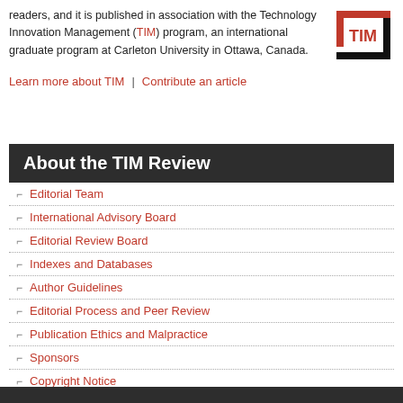readers, and it is published in association with the Technology Innovation Management (TIM) program, an international graduate program at Carleton University in Ottawa, Canada.
Learn more about TIM  |  Contribute an article
About the TIM Review
Editorial Team
International Advisory Board
Editorial Review Board
Indexes and Databases
Author Guidelines
Editorial Process and Peer Review
Publication Ethics and Malpractice
Sponsors
Copyright Notice
Privacy Policy
Contact Us